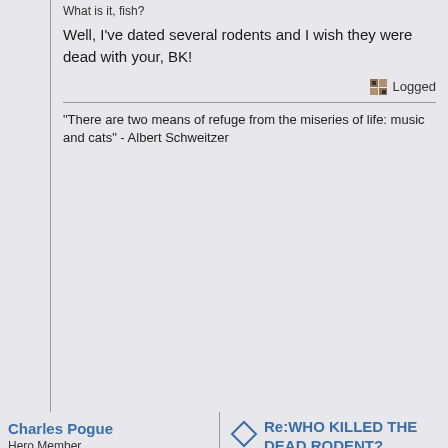What is it, fish?
Well, I've dated several rodents and I wish they were dead with your, BK!
Logged
"There are two means of refuge from the miseries of life: music and cats" - Albert Schweitzer
Charles Pogue
Hero Member
Offline
Posts: 4582
[Figure (photo): Black and white headshot photo of a man with arms crossed, wearing a t-shirt]
"The heart must bleed; not slobber." - F.
Re:WHO KILLED THE DEAD RODENT?
« Reply #59 on: April 26, 2004, 10:51:08 AM »
I think it's way too early to say whether Clay was meant to sing on Broadway or that his voice is as good as any.  I certainly think and have always thought that Clay's voice is strong enough to be singing standards and